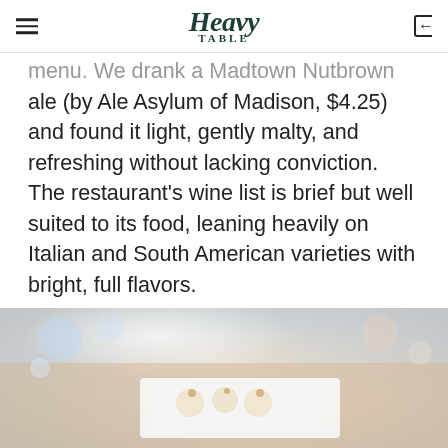Heavy Table
menu. We drank a Madtown Nutbrown ale (by Ale Asylum of Madison, $4.25) and found it light, gently malty, and refreshing without lacking conviction. The restaurant's wine list is brief but well suited to its food, leaning heavily on Italian and South American varieties with bright, full flavors.
[Figure (photo): Food photo showing small appetizers or bites on a white plate on a wooden table, with blurred background and bright lighting]